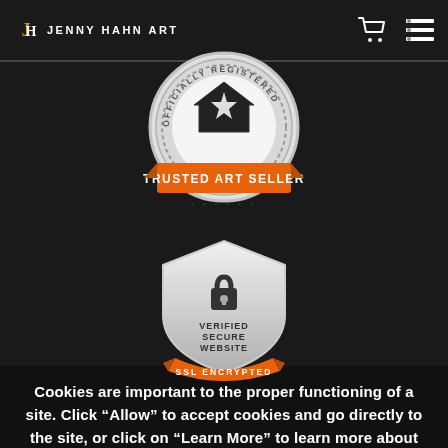JH JENNY HAHN ART
[Figure (logo): Officially Registered Trusted Art Seller badge - circular silver badge with orange banner reading TRUSTED ART SELLER]
[Figure (logo): Verified Secure Website SSL Encrypted badge - silver shield with padlock icon and orange banner reading SSL ENCRYPTED]
Cookies are important to the proper functioning of a site. Click "Allow" to accept cookies and go directly to the site, or click on "Learn More" to learn more about our Privacy Policy before accepting. Learn More
Got it!